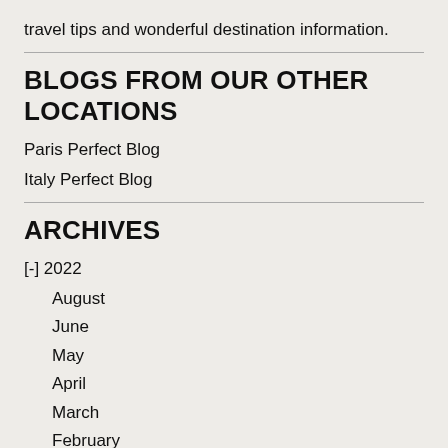travel tips and wonderful destination information.
BLOGS FROM OUR OTHER LOCATIONS
Paris Perfect Blog
Italy Perfect Blog
ARCHIVES
[-] 2022
August
June
May
April
March
February
January